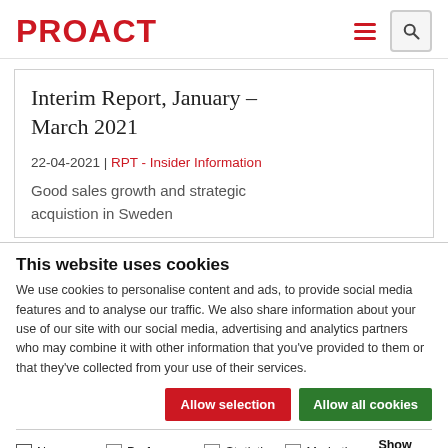PROACT
Interim Report, January – March 2021
22-04-2021 | RPT - Insider Information
Good sales growth and strategic acquistion in Sweden
This website uses cookies
We use cookies to personalise content and ads, to provide social media features and to analyse our traffic. We also share information about your use of our site with our social media, advertising and analytics partners who may combine it with other information that you've provided to them or that they've collected from your use of their services.
Allow selection | Allow all cookies
✓ Necessary  □ Preferences  □ Statistics  □ Marketing  Show details